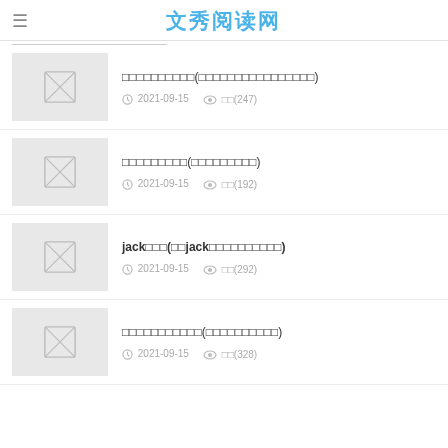文秀阅读网
□□□□□□□□□□(□□□□□□□□□□□□□□□□) 2021-09-15 阅读(247)
□□□□□□□□□(□□□□□□□□□) 2021-09-15 阅读(192)
jack□□□(□□jack□□□□□□□□□□) 2021-09-15 阅读(292)
□□□□□□□□□□□(□□□□□□□□□□) 2021-09-15 阅读(328)